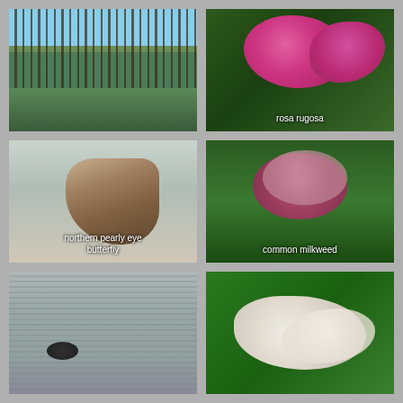[Figure (photo): Forest path with tall pine trees leading to a lake]
[Figure (photo): Rosa rugosa — pink wild roses with green foliage]
[Figure (photo): Northern pearly eye butterfly resting on ground]
[Figure (photo): Common milkweed plant with pink flower clusters and large green leaves]
[Figure (photo): Loon bird swimming on water]
[Figure (photo): White hanging bell-shaped flowers on green background]